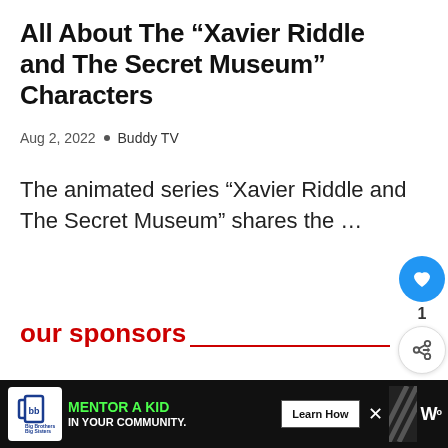All About The “Xavier Riddle and The Secret Museum” Characters
Aug 2, 2022 • Buddy TV
The animated series “Xavier Riddle and The Secret Museum” shares the …
our sponsors
Your ad could be here.
Advertise on BuddyTV
[Figure (screenshot): Bottom banner advertisement: Big Brothers Big Sisters logo, green text MENTOR A KID IN YOUR COMMUNITY, Learn How button, close X button, decorative stripe pattern, and a W logo.]